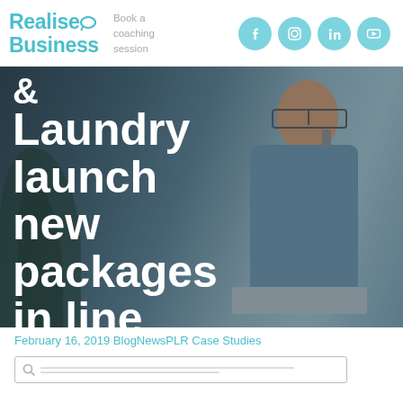Realise Business | Book a coaching session
[Figure (photo): Hero banner image showing a smiling man in glasses talking on a phone while sitting at a laptop in an office environment, with dark overlay and large white text reading '& Laundry launch new packages in line']
February 16, 2019 BlogNewsPLR Case Studies
[Figure (screenshot): Search bar widget at bottom of page]